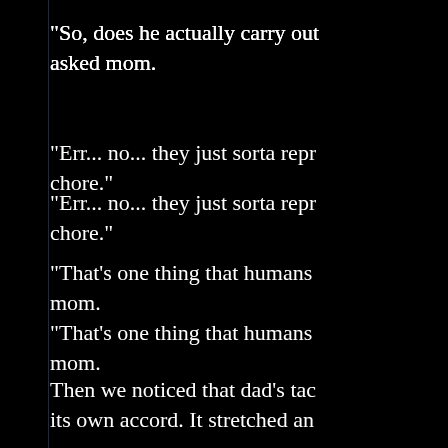"So, does he actually carry out asked mom.
"Err... no... they just sorta repr chore."
"That's one thing that humans mom.
Then we noticed that dad's tac its own accord. It stretched an about nestling in dad's face-fu
Dad looked a bit embarrassed,
"It's a foxmoth caterpillar - I've